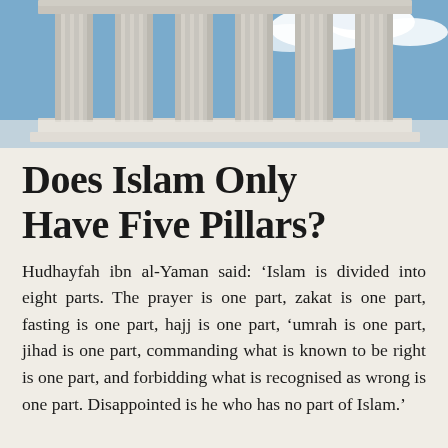[Figure (photo): Photograph of classical Greek/Roman style stone columns with white architrave against a blue sky with clouds]
Does Islam Only Have Five Pillars?
Hudhayfah ibn al-Yaman said: ‘Islam is divided into eight parts. The prayer is one part, zakat is one part, fasting is one part, hajj is one part, ‘umrah is one part, jihad is one part, commanding what is known to be right is one part, and forbidding what is recognised as wrong is one part. Disappointed is he who has no part of Islam.’